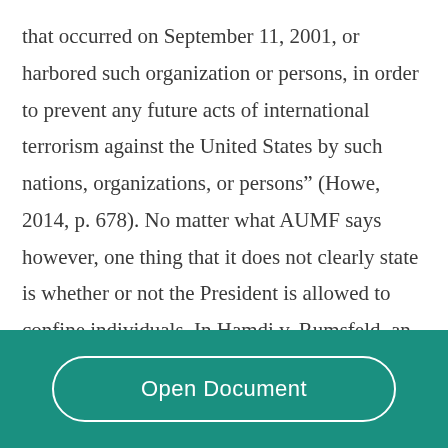that occurred on September 11, 2001, or harbored such organization or persons, in order to prevent any future acts of international terrorism against the United States by such nations, organizations, or persons” (Howe, 2014, p. 678). No matter what AUMF says however, one thing that it does not clearly state is whether or not the President is allowed to confine individuals. In Hamdi v. Rumsfeld, an American citizen was detained in Afghanistan on suspicion of being involved with
Open Document